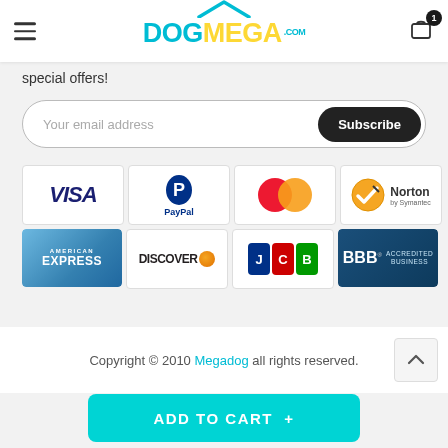DogMega.com
special offers!
[Figure (screenshot): Email subscription input field with 'Your email address' placeholder and black 'Subscribe' button on right]
[Figure (infographic): Payment method badges: VISA, PayPal, Mastercard, Norton by Symantec, American Express, Discover, JCB, BBB Accredited Business]
Copyright © 2010 Megadog all rights reserved.
[Figure (other): ADD TO CART + button in cyan/teal color at bottom]